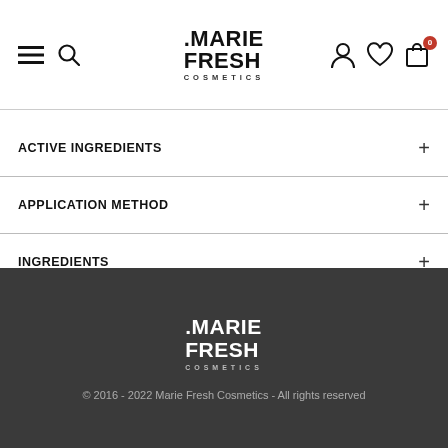Marie Fresh Cosmetics - navigation header with menu, search, logo, account, wishlist and cart icons
ACTIVE INGREDIENTS
APPLICATION METHOD
INGREDIENTS
INCI
[Figure (logo): Marie Fresh Cosmetics logo in white on dark grey footer background]
© 2016 - 2022 Marie Fresh Cosmetics - All rights reserved